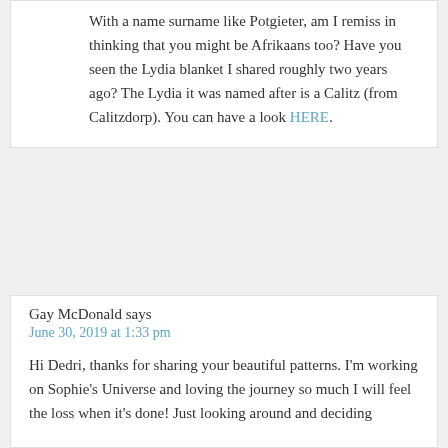With a name surname like Potgieter, am I remiss in thinking that you might be Afrikaans too? Have you seen the Lydia blanket I shared roughly two years ago? The Lydia it was named after is a Calitz (from Calitzdorp). You can have a look HERE.
Gay McDonald says
June 30, 2019 at 1:33 pm
Hi Dedri, thanks for sharing your beautiful patterns. I'm working on Sophie's Universe and loving the journey so much I will feel the loss when it's done! Just looking around and deciding